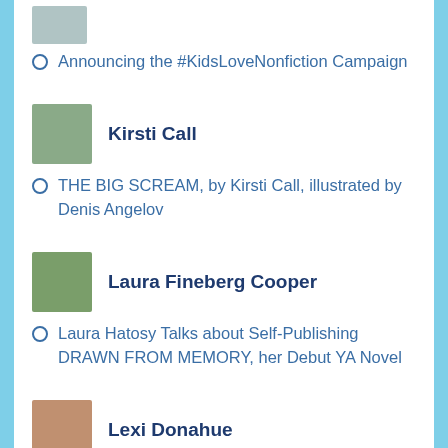[Figure (photo): Small portrait photo at top, partially cropped]
Announcing the #KidsLoveNonfiction Campaign
[Figure (photo): Portrait photo of Kirsti Call]
Kirsti Call
THE BIG SCREAM, by Kirsti Call, illustrated by Denis Angelov
[Figure (photo): Portrait photo of Laura Fineberg Cooper]
Laura Fineberg Cooper
Laura Hatosy Talks about Self-Publishing DRAWN FROM MEMORY, her Debut YA Novel
[Figure (photo): Portrait photo of Lexi Donahue]
Lexi Donahue
AUGUST Middle Grade and Young Adult Opportunities